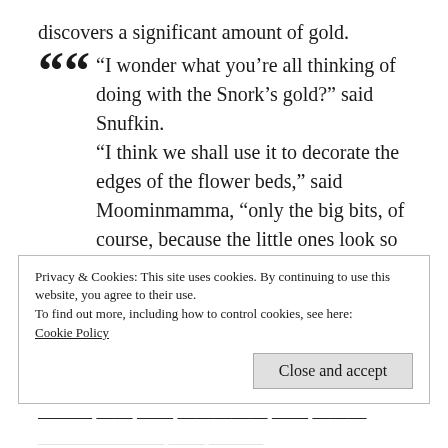discovers a significant amount of gold.
“I wonder what you’re all thinking of doing with the Snork’s gold?” said Snufkin.
“I think we shall use it to decorate the edges of the flower beds,” said Moominmamma, “only the big bits, of course, because the little ones look so rubbishy.”
Two creatures — Thingumy and Bob — show
Privacy & Cookies: This site uses cookies. By continuing to use this website, you agree to their use.
To find out more, including how to control cookies, see here:
Cookie Policy
Close and accept
... they will be coming at the valley’s of the